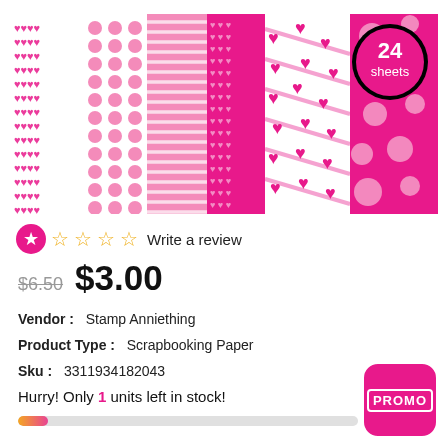[Figure (photo): Scrapbooking paper pack product image showing 6 patterned pink/red sheets with hearts, polka dots, stripes, and a '24 sheets' badge]
Write a review (1 star rating out of 5)
$6.50  $3.00
Vendor :  Stamp Anniething
Product Type :  Scrapbooking Paper
Sku :  3311934182043
Hurry! Only 1 units left in stock!
[Figure (other): PROMO button (pink rounded square)]